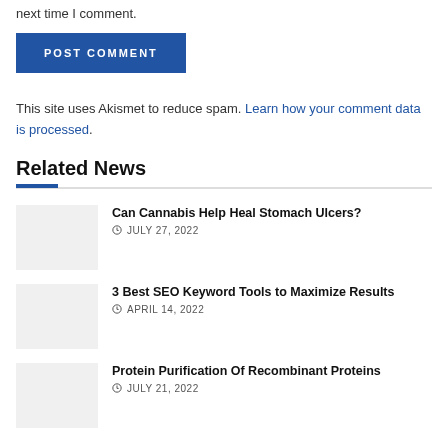next time I comment.
POST COMMENT
This site uses Akismet to reduce spam. Learn how your comment data is processed.
Related News
Can Cannabis Help Heal Stomach Ulcers?
JULY 27, 2022
3 Best SEO Keyword Tools to Maximize Results
APRIL 14, 2022
Protein Purification Of Recombinant Proteins
JULY 21, 2022